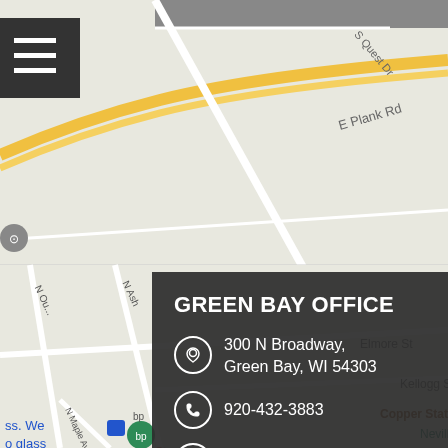[Figure (map): Google Maps screenshot showing streets around Green Bay office area including E Plank Rd, N Ash, Elmore St, Kellogg St, Dousman St with landmarks like Lenny's Tap, Wonderful Things, Titletown Brewing Company, Copper State Brewing, Neville Public Museum, Fox River, bp gas station, Roman Oratory church]
GREEN BAY OFFICE
300 N Broadway,
Green Bay, WI 54303
920-432-3883
920-432-3885
View on map